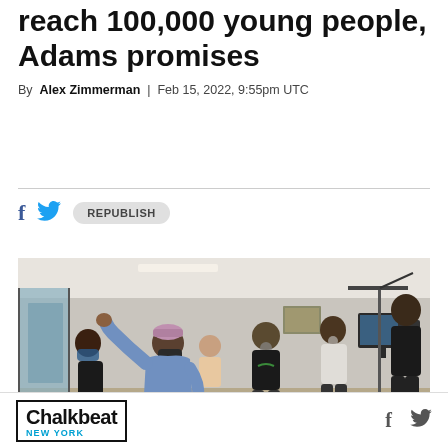reach 100,000 young people, Adams promises
By Alex Zimmerman | Feb 15, 2022, 9:55pm UTC
[Figure (photo): Indoor classroom or studio setting with several people, some wearing masks, seated in chairs. A person in a light blue t-shirt gestures expressively with their arm raised. A person with a camera on a tripod stands to the right. The room has computers and office equipment visible in the background.]
Chalkbeat NEW YORK